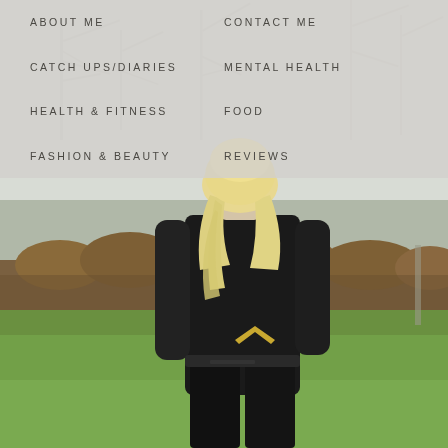ABOUT ME
CONTACT ME
CATCH UPS/DIARIES
MENTAL HEALTH
HEALTH & FITNESS
FOOD
FASHION & BEAUTY
REVIEWS
[Figure (photo): Woman with blonde hair seen from behind, wearing black athletic/running gear with a gold chevron logo, standing on a green grassy hill with a hedgerow in the background on a clear winter day.]